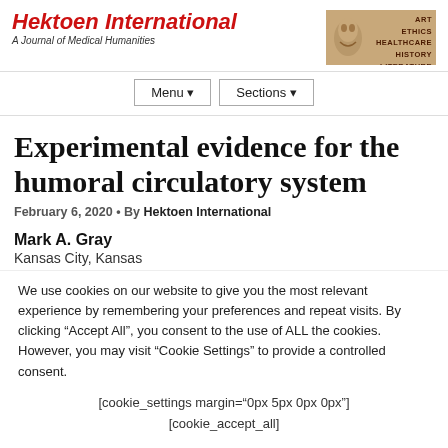Hektoen International — A Journal of Medical Humanities
Experimental evidence for the humoral circulatory system
February 6, 2020 • By Hektoen International
Mark A. Gray
Kansas City, Kansas
We use cookies on our website to give you the most relevant experience by remembering your preferences and repeat visits. By clicking “Accept All”, you consent to the use of ALL the cookies. However, you may visit “Cookie Settings” to provide a controlled consent.
[cookie_settings margin="0px 5px 0px 0px"] [cookie_accept_all]